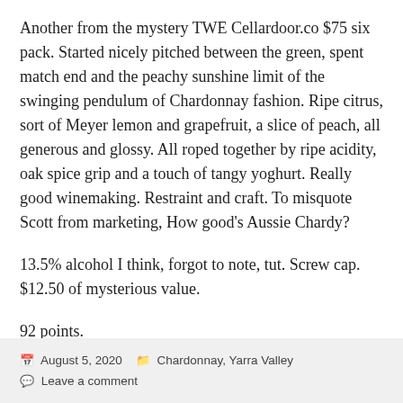Another from the mystery TWE Cellardoor.co $75 six pack. Started nicely pitched between the green, spent match end and the peachy sunshine limit of the swinging pendulum of Chardonnay fashion. Ripe citrus, sort of Meyer lemon and grapefruit, a slice of peach, all generous and glossy. All roped together by ripe acidity, oak spice grip and a touch of tangy yoghurt. Really good winemaking. Restraint and craft. To misquote Scott from marketing, How good's Aussie Chardy?
13.5% alcohol I think, forgot to note, tut. Screw cap. $12.50 of mysterious value.
92 points.
August 5, 2020   Chardonnay, Yarra Valley   Leave a comment